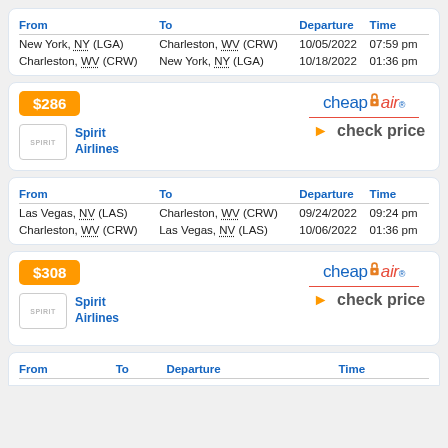| From | To | Departure | Time |
| --- | --- | --- | --- |
| New York, NY (LGA) | Charleston, WV (CRW) | 10/05/2022 | 07:59 pm |
| Charleston, WV (CRW) | New York, NY (LGA) | 10/18/2022 | 01:36 pm |
$286 - CheapOair - Spirit Airlines - check price
| From | To | Departure | Time |
| --- | --- | --- | --- |
| Las Vegas, NV (LAS) | Charleston, WV (CRW) | 09/24/2022 | 09:24 pm |
| Charleston, WV (CRW) | Las Vegas, NV (LAS) | 10/06/2022 | 01:36 pm |
$308 - CheapOair - Spirit Airlines - check price
| From | To | Departure |
| --- | --- | --- |